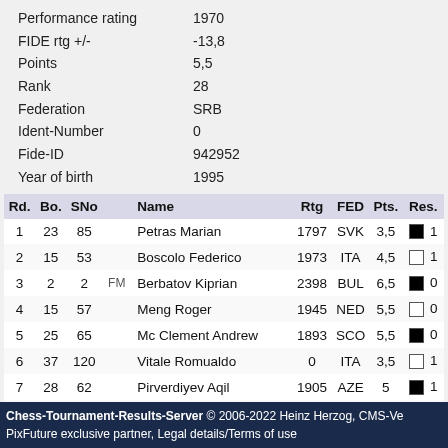| Performance rating | 1970 |
| FIDE rtg +/- | -13,8 |
| Points | 5,5 |
| Rank | 28 |
| Federation | SRB |
| Ident-Number | 0 |
| Fide-ID | 942952 |
| Year of birth | 1995 |
| Rd. | Bo. | SNo |  | Name | Rtg | FED | Pts. | Res. |
| --- | --- | --- | --- | --- | --- | --- | --- | --- |
| 1 | 23 | 85 |  | Petras Marian | 1797 | SVK | 3,5 | ■ 1 |
| 2 | 15 | 53 |  | Boscolo Federico | 1973 | ITA | 4,5 | □ 1 |
| 3 | 2 | 2 | FM | Berbatov Kiprian | 2398 | BUL | 6,5 | ■ 0 |
| 4 | 15 | 57 |  | Meng Roger | 1945 | NED | 5,5 | □ 0 |
| 5 | 25 | 65 |  | Mc Clement Andrew | 1893 | SCO | 5,5 | ■ 0 |
| 6 | 37 | 120 |  | Vitale Romualdo | 0 | ITA | 3,5 | □ 1 |
| 7 | 28 | 62 |  | Pirverdiyev Aqil | 1905 | AZE | 5 | ■ 1 |
| 8 | 18 | 45 |  | Tejedor Fuentes Enrique | 2004 | ESP | 5,5 | □ ½ |
| 9 | 21 | 64 |  | Atnilov Michael | 1898 | ISR | 4,5 | ■ 1 |
Chess-Tournament-Results-Server © 2006-2022 Heinz Herzog, CMS-Ve PixFuture exclusive partner, Legal details/Terms of use